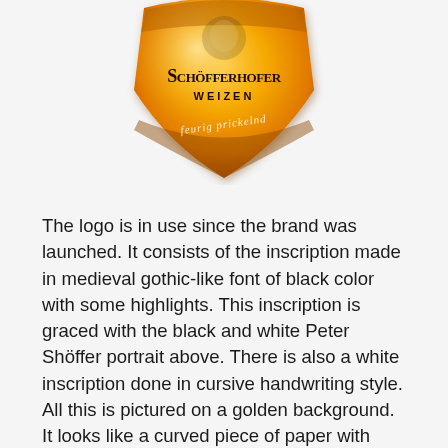[Figure (logo): Schöfferhofer Weizen beer logo — an orange/golden shield-like curved shape with 'Schöfferhofer' in medieval gothic-like font and 'WEIZEN' below it in block letters, with a cursive white inscription and a portrait, on a golden/orange gradient background.]
The logo is in use since the brand was launched. It consists of the inscription made in medieval gothic-like font of black color with some highlights. This inscription is graced with the black and white Peter Shöffer portrait above. There is also a white inscription done in cursive handwriting style. All this is pictured on a golden background. It looks like a curved piece of paper with darker lines at the top and bottom and beer drops on it. The classic Schöfferhofer logo for the bottle caps consists of the